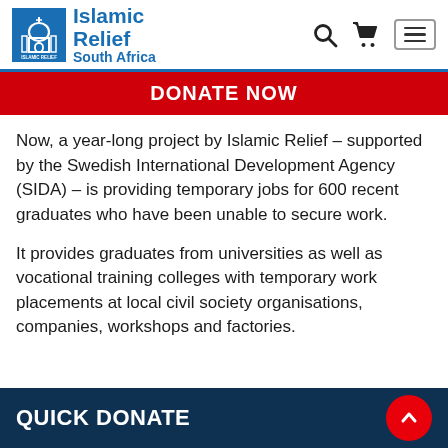[Figure (logo): Islamic Relief South Africa logo with mosque icon and blue text]
DONATE NOW
Now, a year-long project by Islamic Relief – supported by the Swedish International Development Agency (SIDA) – is providing temporary jobs for 600 recent graduates who have been unable to secure work.
It provides graduates from universities as well as vocational training colleges with temporary work placements at local civil society organisations, companies, workshops and factories.
QUICK DONATE